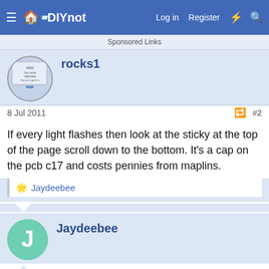DIYnot — Log in  Register
Sponsored Links
rocks1
8 Jul 2011  #2
If every light flashes then look at the sticky at the top of the page scroll down to the bottom. It's a cap on the pcb c17 and costs pennies from maplins.
Jaydeebee
Jaydeebee
8 Jul 2011  #3
I got a reply from Rocks1 - thank you. However I am new to